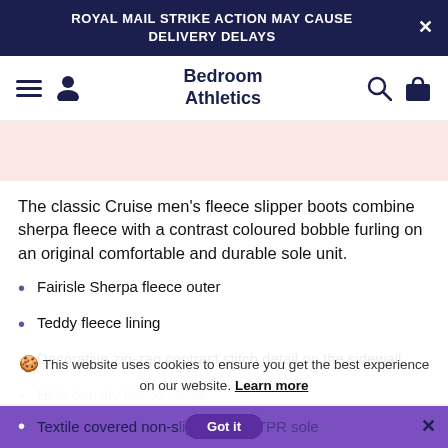ROYAL MAIL STRIKE ACTION MAY CAUSE DELIVERY DELAYS
Bedroom Athletics
[Figure (illustration): Pink/blush coloured product image section]
The classic Cruise men’s fleece slipper boots combine sherpa fleece with a contrast coloured bobble furling on an original comfortable and durable sole unit.
Fairisle Sherpa fleece outer
Teddy fleece lining
Decorative zig-zag contrast stitch detail on the sidewall
High density fleece insole
Branded zip closure
This website uses cookies to ensure you get the best experience on our website. Learn more
Textile covered non-slip branded TPR sole